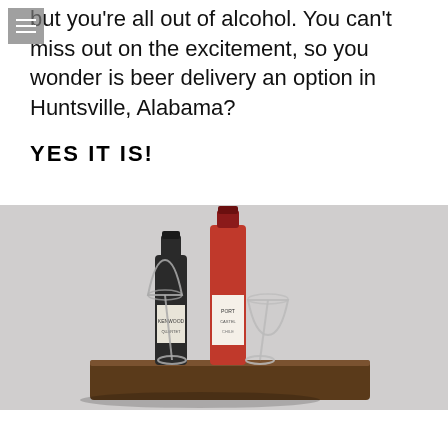but you're all out of alcohol. You can't miss out on the excitement, so you wonder is beer delivery an option in Huntsville, Alabama?
YES IT IS!
[Figure (photo): Photo of two wine bottles and two wine glasses arranged on a dark wooden tray against a light gray background]